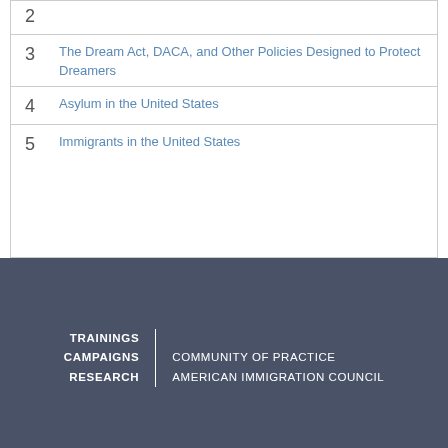2
3 The Dream Act, DACA, and Other Policies Designed to Protect Dreamers
4 Asylum in the United States
5 Immigrants in the United States
TRAININGS CAMPAIGNS RESEARCH | COMMUNITY OF PRACTICE AMERICAN IMMIGRATION COUNCIL